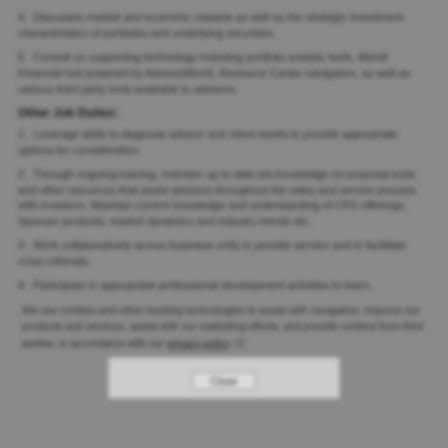4. Discusses market and economic impacts as well as the strategic investment characteristics of portfolios and underlying securities.
5. Consult on supporting technology including portfolio analytic tools, Merrill Financial tool powered by Advisor|World, Resource Center navigation, as well as various third party tools available to advisors.
Other Job Duties:
1. Leverage skills to diagnose advisor and client needs to provide appropriate options for consideration.
2. Through ongoing training, maintain up to date job knowledge on proposal tools and other resources that assist advisors throughout the sales and service process with investors. Maintain current knowledge and understanding of CFG offerings, Sponsor products, market dynamics and industry trends etc.
3. Work collaboratively across business units to provide service and to facilitate cross referrals.
4. Participate in appropriate professional development activities to learn.
We use cookies and other tracking technologies to assist with navigation, improve our products and services, assist with our marketing efforts, and provide content from third parties, in accordance with our privacy policy.
Close